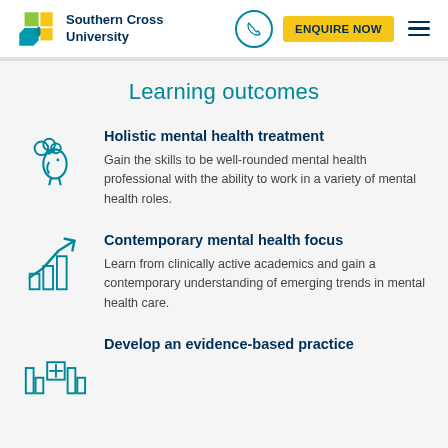[Figure (logo): Southern Cross University logo with colorful cube icon and university name]
Learning outcomes
[Figure (illustration): Teal icon of a person's head with thought clouds representing holistic mental health]
Holistic mental health treatment
Gain the skills to be well-rounded mental health professional with the ability to work in a variety of mental health roles.
[Figure (illustration): Teal icon of a bar chart with upward trending arrow representing contemporary mental health focus]
Contemporary mental health focus
Learn from clinically active academics and gain a contemporary understanding of emerging trends in mental health care.
[Figure (illustration): Teal icon of medical/evidence chart representing evidence-based practice]
Develop an evidence-based practice